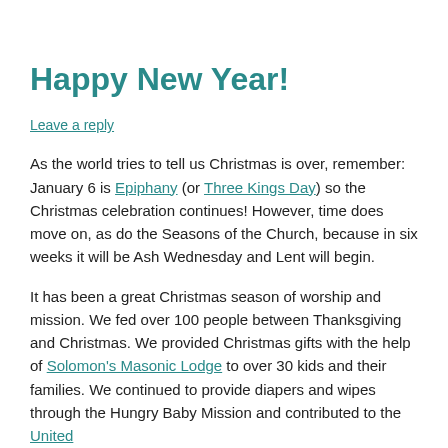Happy New Year!
Leave a reply
As the world tries to tell us Christmas is over, remember: January 6 is Epiphany (or Three Kings Day) so the Christmas celebration continues!  However, time does move on, as do the Seasons of the Church, because in six weeks it will be Ash Wednesday and Lent will begin.
It has been a great Christmas season of worship and mission.  We fed over 100 people between Thanksgiving and Christmas.  We provided Christmas gifts with the help of Solomon's Masonic Lodge to over 30 kids and their families.  We continued to provide diapers and wipes through the Hungry Baby Mission and contributed to the United